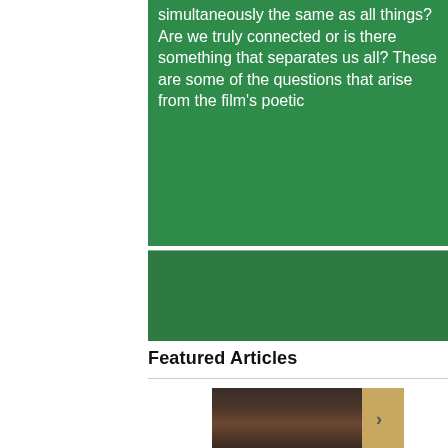simultaneously the same as all things? Are we truly connected or is there something that separates us all? These are some of the questions that arise from the film's poetic
Featured Articles
[Figure (photo): A young woman with auburn hair, looking directly at the camera with a serious expression, photographed in a dimly lit environment with a warm-toned background on the right side. A navigation arrow (chevron right) is overlaid on the photo.]